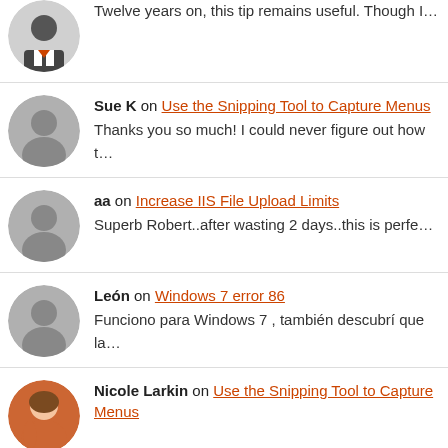Twelve years on, this tip remains useful. Though I…
Sue K on Use the Snipping Tool to Capture Menus — Thanks you so much! I could never figure out how t…
aa on Increase IIS File Upload Limits — Superb Robert..after wasting 2 days..this is perfe…
León on Windows 7 error 86 — Funciono para Windows 7 , también descubrí que la…
Nicole Larkin on Use the Snipping Tool to Capture Menus — Nice remark but make sure you are practicing till b…